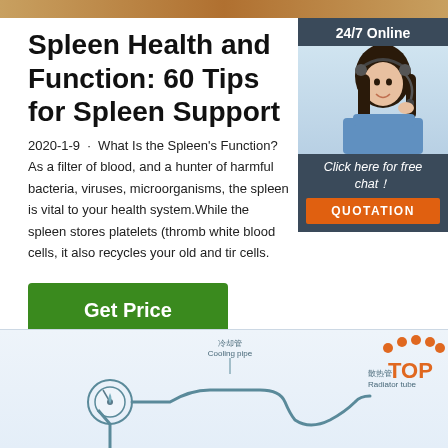[Figure (photo): Thin orange/brown horizontal image bar at top of page]
Spleen Health and Function: 60 Tips for Spleen Support
2020-1-9 · What Is the Spleen's Function? As a filter of blood, and a hunter of harmful bacteria, viruses, microorganisms, the spleen is vital to your health system.While the spleen stores platelets (thromb white blood cells, it also recycles your old and tired cells.
[Figure (photo): 24/7 Online chat widget in dark blue/gray with a woman wearing a headset. Contains text: '24/7 Online', 'Click here for free chat!', and a 'QUOTATION' orange button.]
[Figure (illustration): Green Get Price button]
[Figure (engineering-diagram): Light blue diagram showing cooling pipe (冷却管 Cooling pipe), radiator tube (散热管 Radiator tube) with a TOP logo in orange on upper right]